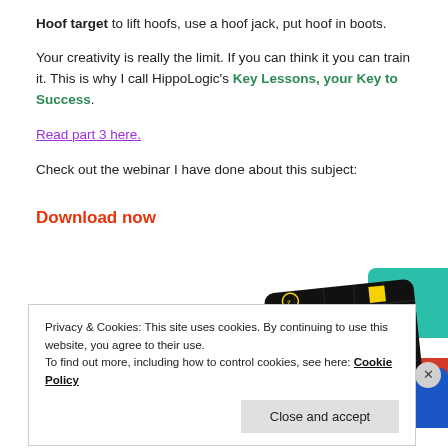Hoof target to lift hoofs, use a hoof jack, put hoof in boots.
Your creativity is really the limit. If you can think it you can train it. This is why I call HippoLogic’s Key Lessons, your Key to Success.
Read part 3 here.
Check out the webinar I have done about this subject:
Download now
[Figure (photo): Overlapping app/podcast cards including a dark card with yellow text reading '99% INVISIBLE', a teal card, a blue card, and a partially visible red card.]
Privacy & Cookies: This site uses cookies. By continuing to use this website, you agree to their use.
To find out more, including how to control cookies, see here: Cookie Policy
Close and accept